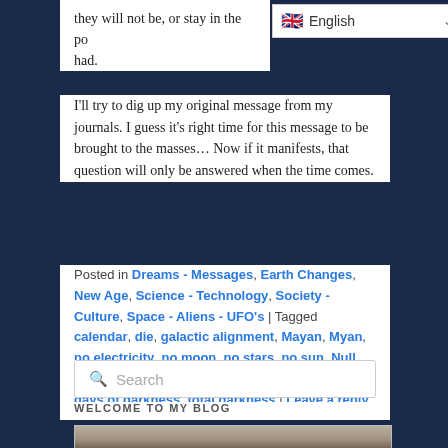they will not be, or stay in the po... had.
[Figure (screenshot): Language selector dropdown showing UK flag and 'English' label with chevron]
I'll try to dig up my original message from my journals. I guess it's right time for this message to be brought to the masses… Now if it manifests, that question will only be answered when the time comes.
Posted in Dreams - Messages, Earth Changes, New Age, Science - Technology, Society - Culture, Space - Aliens - UFO's | Tagged calendar, die, galactic alignment, Mayan, Myan, no electricity, no moon, no stars, no sun, Null Zone, people, Photon belt, Soul searching, Three days of darkness, total darkness | Leave a reply
Search
WELCOME TO MY BLOG
[Figure (photo): Partial photo of a person's head, shown from the top]